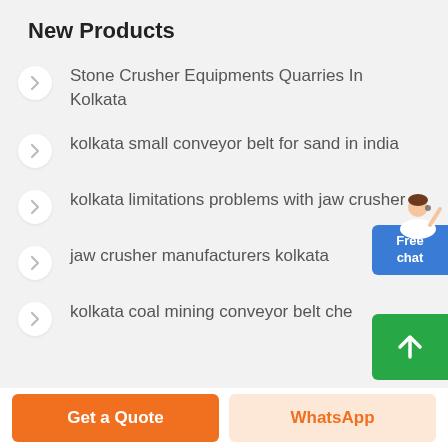New Products
Stone Crusher Equipments Quarries In Kolkata
kolkata small conveyor belt for sand in india
kolkata limitations problems with jaw crusher
jaw crusher manufacturers kolkata
kolkata coal mining conveyor belt che